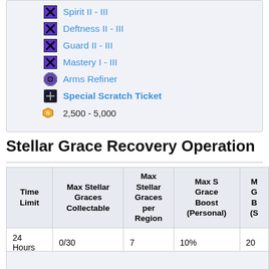Spirit II - III
Deftness II - III
Guard II - III
Mastery I - III
Arms Refiner
Special Scratch Ticket
2,500 - 5,000
Stellar Grace Recovery Operation
| Time Limit | Max Stellar Graces Collectable | Max Stellar Graces per Region | Max S Grace Boost (Personal) | M... (S... |
| --- | --- | --- | --- | --- |
| 24 Hours | 0/30 | 7 | 10% | 20... |